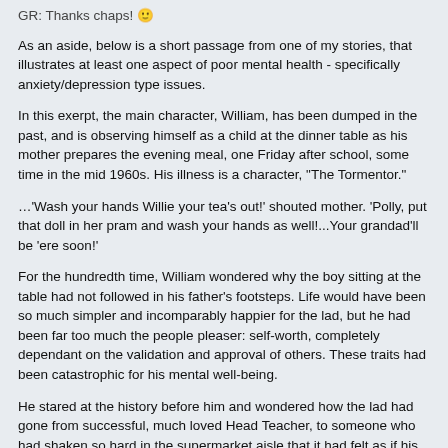GR: Thanks chaps! 🙂
As an aside, below is a short passage from one of my stories, that illustrates at least one aspect of poor mental health - specifically anxiety/depression type issues.
In this exerpt, the main character, William, has been dumped in the past, and is observing himself as a child at the dinner table as his mother prepares the evening meal, one Friday after school, some time in the mid 1960s. His illness is a character, "The Tormentor."
…'Wash your hands Willie your tea's out!' shouted mother. 'Polly, put that doll in her pram and wash your hands as well!...Your grandad'll be 'ere soon!'
For the hundredth time, William wondered why the boy sitting at the table had not followed in his father's footsteps. Life would have been so much simpler and incomparably happier for the lad, but he had been far too much the people pleaser: self-worth, completely dependant on the validation and approval of others. These traits had been catastrophic for his mental well-being.
He stared at the history before him and wondered how the lad had gone from successful, much loved Head Teacher, to someone who had shaken so hard in the supermarket aisle that it had felt as if his body was falling